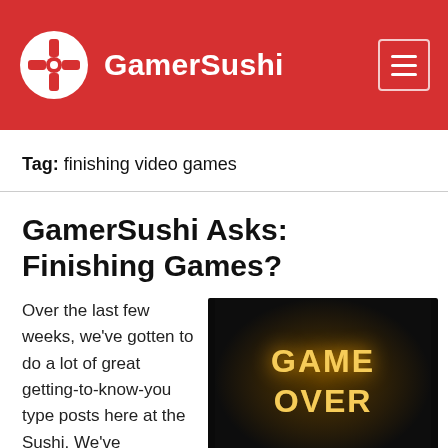GamerSushi
Tag: finishing video games
GamerSushi Asks: Finishing Games?
Over the last few weeks, we've gotten to do a lot of great getting-to-know-you type posts here at the Sushi. We've
[Figure (photo): Dark image with glowing orange/yellow text reading GAME OVER]